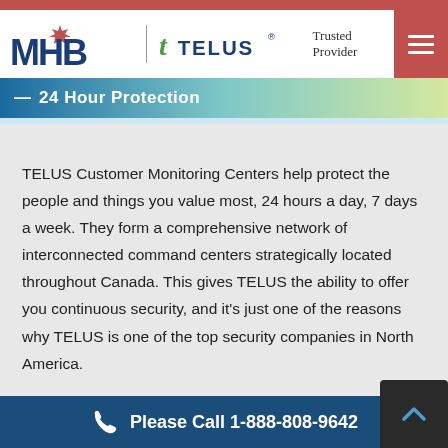[Figure (logo): MHB logo (blue text with red maple leaf) and TELUS Trusted Provider logo with green checkmark]
— 24 Hour Protection
TELUS Customer Monitoring Centers help protect the people and things you value most, 24 hours a day, 7 days a week. They form a comprehensive network of interconnected command centers strategically located throughout Canada. This gives TELUS the ability to offer you continuous security, and it's just one of the reasons why TELUS is one of the top security companies in North America.
Please Call 1-888-808-9642